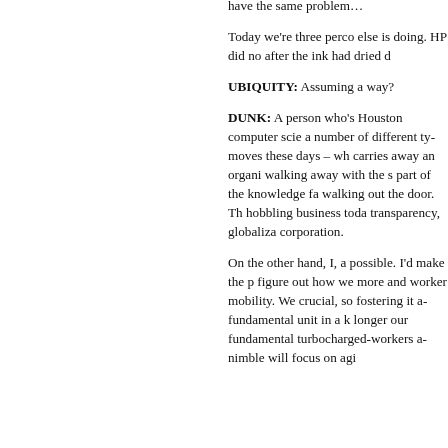have the same problem…
Today we're three perc… else is doing. HP did no… after the ink had dried d…
UBIQUITY: Assuming a… way?
DUNK: A person who's… Houston computer scie… a number of different ty… moves these days – wh… carries away an organi… walking away with the s… part of the knowledge fa… walking out the door. Th… hobbling business toda… transparency, globaliza… corporation.
On the other hand, I, a… possible. I'd make the p… figure out how we more… and worker mobility. We… crucial, so fostering it a… fundamental unit in a k… longer our fundamental… turbocharged-workers a… nimble will focus on agi…